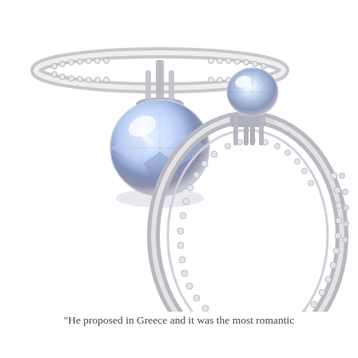[Figure (photo): Two views of a diamond engagement ring with a pavé-set band. Top-left view shows a top-down/angled perspective of the ring with a large round brilliant-cut diamond center stone set in a four-prong setting with a thin pavé diamond band. Bottom-right view shows a side profile of the same ring, displaying the full pavé-set band encircling into an oval shape with the solitaire diamond on top in prong setting.]
"He proposed in Greece and it was the most romantic